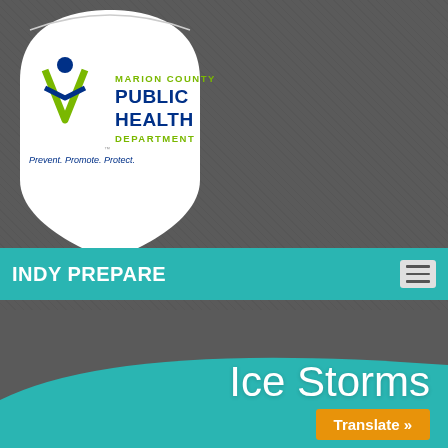[Figure (logo): Marion County Public Health Department shield logo with text: MARION COUNTY PUBLIC HEALTH DEPARTMENT, Prevent. Promote. Protect.]
INDY PREPARE
Ice Storms
Translate »